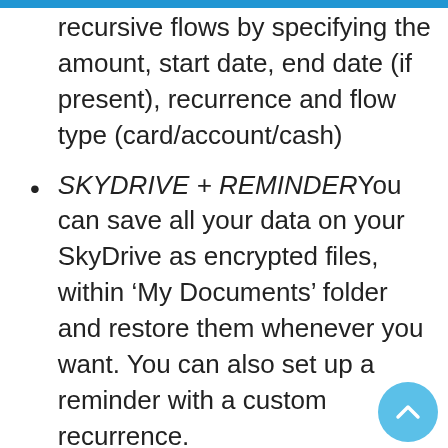recursive flows by specifying the amount, start date, end date (if present), recurrence and flow type (card/account/cash)
SKYDRIVE + REMINDERYou can save all your data on your SkyDrive as encrypted files, within ‘My Documents’ folder and restore them whenever you want. You can also set up a reminder with a custom recurrence.
PASSWORDProtect your data from being observed by someone else by using a password at app start up
LIVE TILESYou can pin several live tiles on start screen which keep you up to date about your